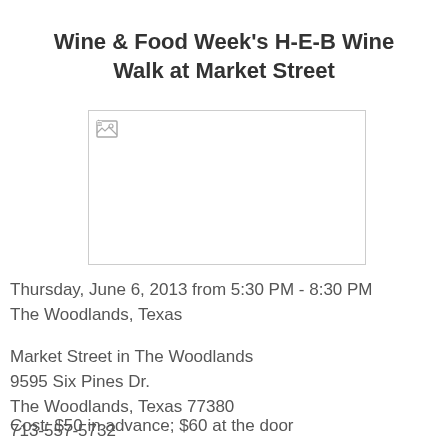Wine & Food Week's H-E-B Wine Walk at Market Street
[Figure (photo): Broken image placeholder for event photo]
Thursday, June 6, 2013 from 5:30 PM - 8:30 PM
The Woodlands, Texas
Market Street in The Woodlands
9595 Six Pines Dr.
The Woodlands, Texas 77380
713-557-5732
Cost: $50 in advance; $60 at the door